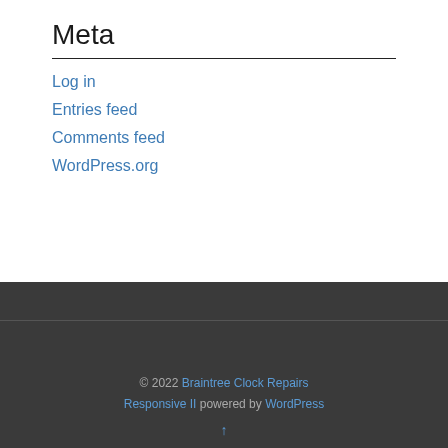Meta
Log in
Entries feed
Comments feed
WordPress.org
© 2022 Braintree Clock Repairs Responsive II powered by WordPress ↑